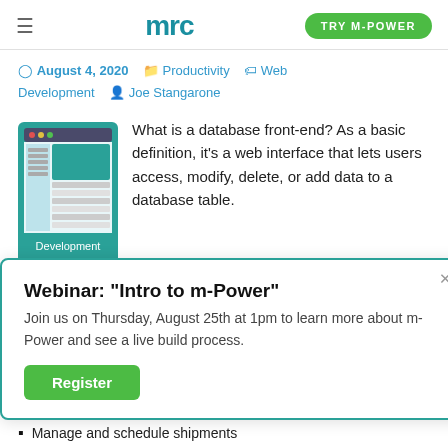mrc | TRY M-POWER
August 4, 2020 · Productivity · Web Development · Joe Stangarone
[Figure (illustration): Green database/development icon with a browser window, grid, and 'Development' label]
What is a database front-end? As a basic definition, it's a web interface that lets users access, modify, delete, or add data to a database table.
Webinar: "Intro to m-Power" Join us on Thursday, August 25th at 1pm to learn more about m-Power and see a live build process. [Register button]
Manage and schedule shipments